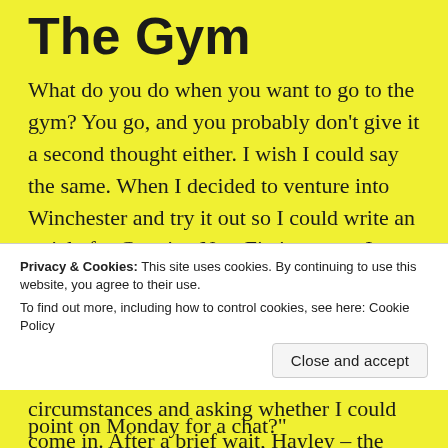The Gym
What do you do when you want to go to the gym? You go, and you probably don’t give it a second thought either. I wish I could say the same. When I decided to venture into Winchester and try it out so I could write an article for Creative Non-Fiction, even I wasn’t prepared for all of the questions and careful consideration that lay in wait. The process began on Friday afternoon, when I sent a Facebook message explaining my circumstances and asking whether I could come in. After a brief wait, Hayley – the manager to whom my enquiry was passed
point on Monday for a chat?”
Privacy & Cookies: This site uses cookies. By continuing to use this website, you agree to their use.
To find out more, including how to control cookies, see here: Cookie Policy
Close and accept